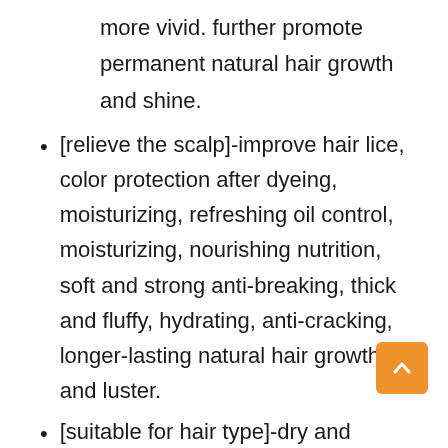more vivid. further promote permanent natural hair growth and shine.
[relieve the scalp]-improve hair lice, color protection after dyeing, moisturizing, refreshing oil control, moisturizing, nourishing nutrition, soft and strong anti-breaking, thick and fluffy, hydrating, anti-cracking, longer-lasting natural hair growth and luster.
[suitable for hair type]-dry and